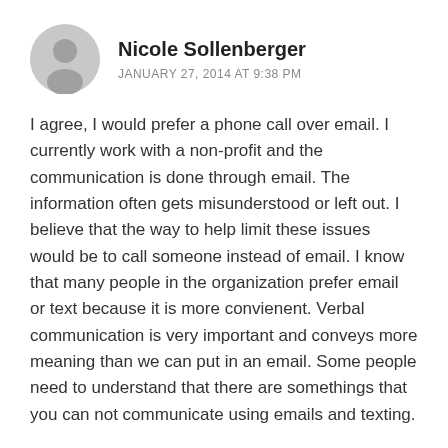Nicole Sollenberger
JANUARY 27, 2014 AT 9:38 PM
I agree, I would prefer a phone call over email. I currently work with a non-profit and the communication is done through email. The information often gets misunderstood or left out. I believe that the way to help limit these issues would be to call someone instead of email. I know that many people in the organization prefer email or text because it is more convienent. Verbal communication is very important and conveys more meaning than we can put in an email. Some people need to understand that there are somethings that you can not communicate using emails and texting.
Loading...